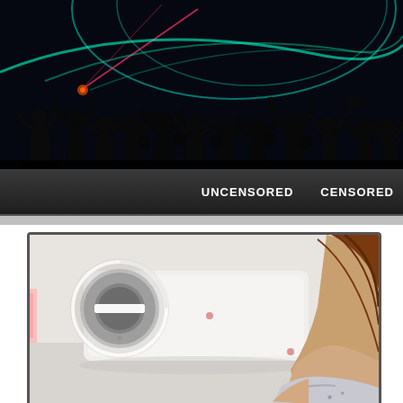[Figure (illustration): Dark nightclub banner with silhouettes of people dancing against a black background with colorful teal and pink light streaks and swirling lines]
UNCENSORED    CENSORED
[Figure (photo): Screenshot of a video player showing a woman with brown hair in white clothing lying on a white surface, with a circular play/pause icon overlay in the upper left of the video frame]